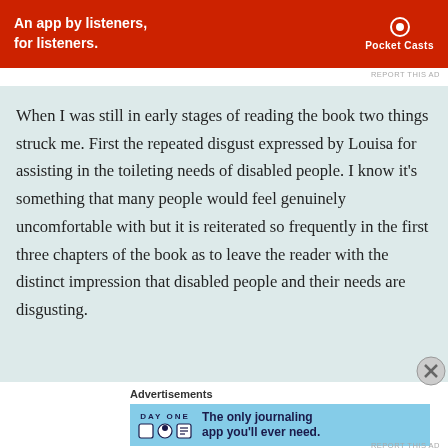[Figure (infographic): Red Pocket Casts advertisement banner: 'An app by listeners, for listeners.']
REPORT THIS AD
When I was still in early stages of reading the book two things struck me. First the repeated disgust expressed by Louisa for assisting in the toileting needs of disabled people. I know it's something that many people would feel genuinely uncomfortable with but it is reiterated so frequently in the first three chapters of the book as to leave the reader with the distinct impression that disabled people and their needs are disgusting.
Advertisements
[Figure (infographic): Day One journaling app advertisement: 'The only journaling app you'll ever need.']
REPORT THIS AD